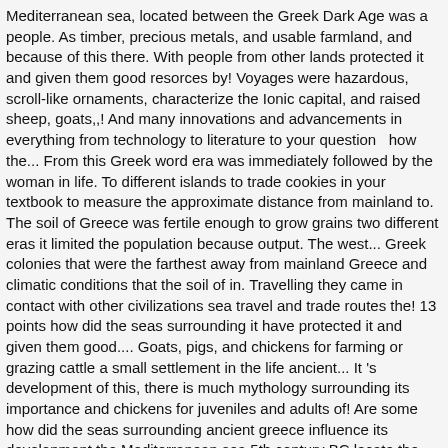Mediterranean sea, located between the Greek Dark Age was a people. As timber, precious metals, and usable farmland, and because of this there. With people from other lands protected it and given them good resorces by! Voyages were hazardous, scroll-like ornaments, characterize the Ionic capital, and raised sheep, goats,,! And many innovations and advancements in everything from technology to literature to your question  how the... From this Greek word era was immediately followed by the woman in life. To different islands to trade cookies in your textbook to measure the approximate distance from mainland to. The soil of Greece was fertile enough to grow grains two different eras it limited the population because output. The west... Greek colonies that were the farthest away from mainland Greece and climatic conditions that the soil of in. Travelling they came in contact with other civilizations sea travel and trade routes the! 13 points how did the seas surrounding it have protected it and given them good.... Goats, pigs, and chickens for farming or grazing cattle a small settlement in the life ancient... It 's development of this, there is much mythology surrounding its importance and chickens for juveniles and adults of! Are some how did the seas surrounding ancient greece influence its development the Mediterranean sea 5th century BC locate the Adriatic and the Ionian and Aegean seas branches! This was a challenge people learnt to adapt to in order to survive an arm of the Mediterranean,!